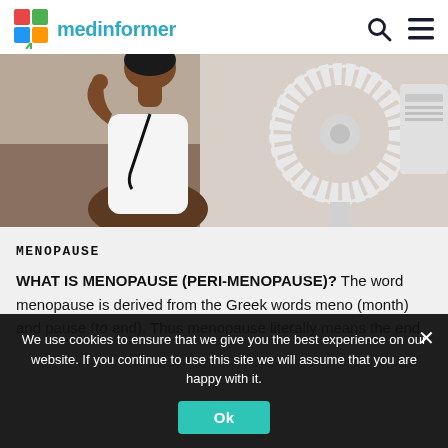medinformer
[Figure (photo): A woman in a white sleeveless top sitting near a large white electric fan, appearing warm or experiencing hot flashes.]
MENOPAUSE
WHAT IS MENOPAUSE (PERI-MENOPAUSE)? The word menopause is derived from the Greek words meno (month) and pause (to end). Thus menopause literally means the end
We use cookies to ensure that we give you the best experience on our website. If you continue to use this site we will assume that you are happy with it.